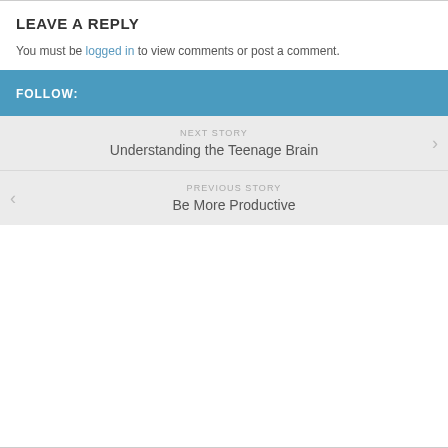LEAVE A REPLY
You must be logged in to view comments or post a comment.
FOLLOW:
NEXT STORY
Understanding the Teenage Brain
PREVIOUS STORY
Be More Productive